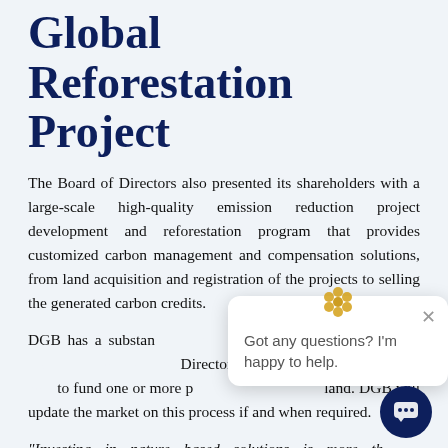Global Reforestation Project
The Board of Directors also presented its shareholders with a large-scale high-quality emission reduction project development and reforestation program that provides customized carbon management and compensation solutions, from land acquisition and registration of the projects to selling the generated carbon credits.
DGB has a substantial amount of sourced forest land under contract. The Board of Directors is currently evaluating how best to fund one or more projects on this forest land. DGB will update the market on this process if and when required.
"Investing in nature based solutions is more than a philanthropic mission: It makes business sense. Carbon